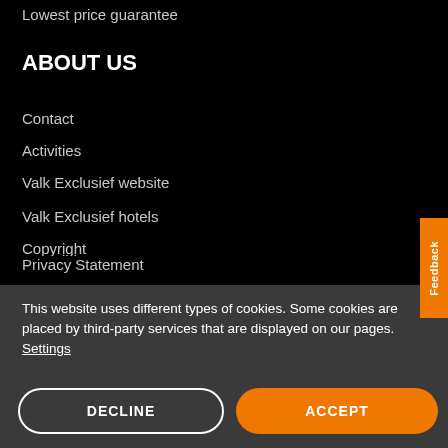Lowest price guarantee
ABOUT US
Contact
Activities
Valk Exclusief website
Valk Exclusief hotels
Copyright
Privacy Statement
Privacy policy applicants and staff members
This website uses different types of cookies. Some cookies are placed by third-party services that are displayed on our pages. Settings
DECLINE
ACCEPT